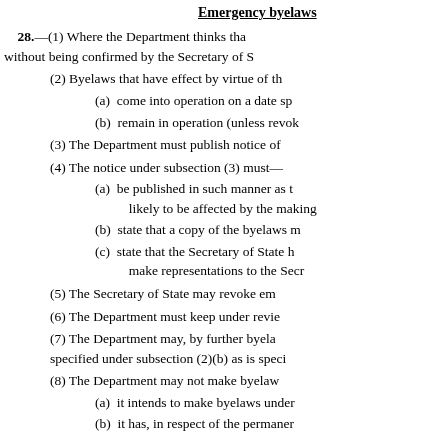Emergency byelaws
28.—(1) Where the Department thinks that without being confirmed by the Secretary of S
(2) Byelaws that have effect by virtue of th
(a)  come into operation on a date sp
(b)  remain in operation (unless revok
(3) The Department must publish notice of
(4) The notice under subsection (3) must—
(a)  be published in such manner as t likely to be affected by the making
(b)  state that a copy of the byelaws m
(c)  state that the Secretary of State h make representations to the Secr
(5) The Secretary of State may revoke em
(6) The Department must keep under revie
(7) The Department may, by further byela specified under subsection (2)(b) as is speci
(8) The Department may not make byelaw
(a)  it intends to make byelaws under
(b)  it has, in respect of the permaner